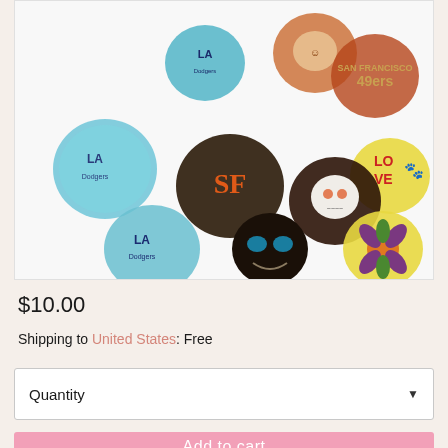[Figure (photo): Product photo showing various decorative snap buttons/charms including LA Dodgers designs (blue stone-look), SF Giants logo, San Francisco 49ers logo, a sugar skull, a smiley face, a floral design, a LOVE with paw print, and other decorative rounds on a white background.]
$10.00
Shipping to United States: Free
Quantity
Add to cart